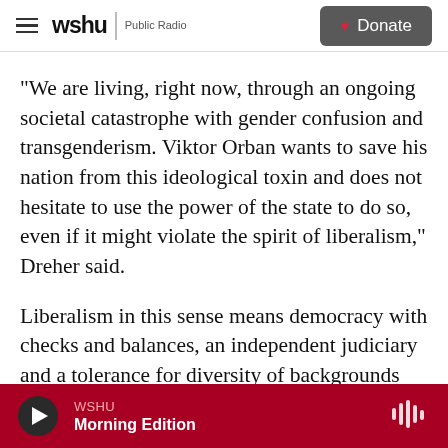wshu Public Radio | Donate
"We are living, right now, through an ongoing societal catastrophe with gender confusion and transgenderism. Viktor Orban wants to save his nation from this ideological toxin and does not hesitate to use the power of the state to do so, even if it might violate the spirit of liberalism," Dreher said.
Liberalism in this sense means democracy with checks and balances, an independent judiciary and a tolerance for diversity of backgrounds and opinions. When CPAC comes to Hungary, Dreher
WSHU Morning Edition